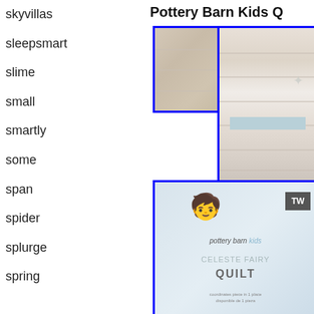Pottery Barn Kids Q
skyvillas
sleepsmart
slime
small
smartly
some
span
spider
splurge
spring
[Figure (photo): Folded quilt in packaging, small version with blue border]
[Figure (photo): Folded quilt close-up with star pattern, blue border]
[Figure (photo): Pottery Barn Kids Celeste Fairy Quilt product packaging with logo and label text]